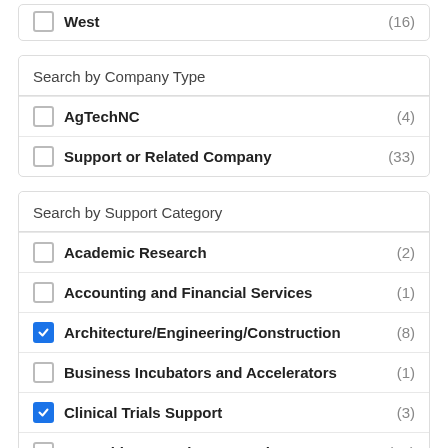West (16)
Search by Company Type
AgTechNC (4)
Support or Related Company (33)
Search by Support Category
Academic Research (2)
Accounting and Financial Services (1)
Architecture/Engineering/Construction (8) [checked]
Business Incubators and Accelerators (1)
Clinical Trials Support (3) [checked]
Consulting – Business Development (10)
Consulting – Manufacturing (12)